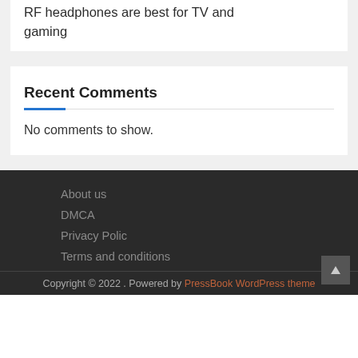RF headphones are best for TV and gaming
Recent Comments
No comments to show.
About us
DMCA
Privacy Polic
Terms and conditions
Copyright © 2022 . Powered by PressBook WordPress theme